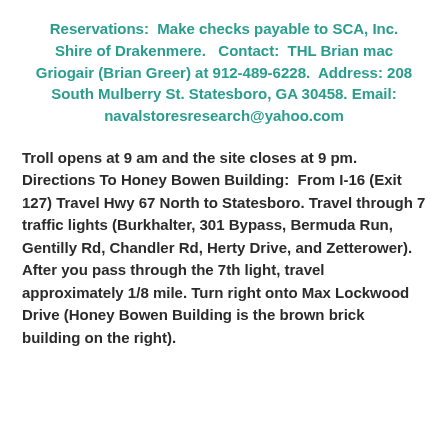Reservations:  Make checks payable to SCA, Inc. Shire of Drakenmere.   Contact:  THL Brian mac Griogair (Brian Greer) at 912-489-6228.  Address: 208 South Mulberry St. Statesboro, GA 30458. Email: navalstoresresearch@yahoo.com
Troll opens at 9 am and the site closes at 9 pm. Directions To Honey Bowen Building:  From I-16 (Exit 127) Travel Hwy 67 North to Statesboro. Travel through 7 traffic lights (Burkhalter, 301 Bypass, Bermuda Run, Gentilly Rd, Chandler Rd, Herty Drive, and Zetterower). After you pass through the 7th light, travel approximately 1/8 mile. Turn right onto Max Lockwood Drive (Honey Bowen Building is the brown brick building on the right).